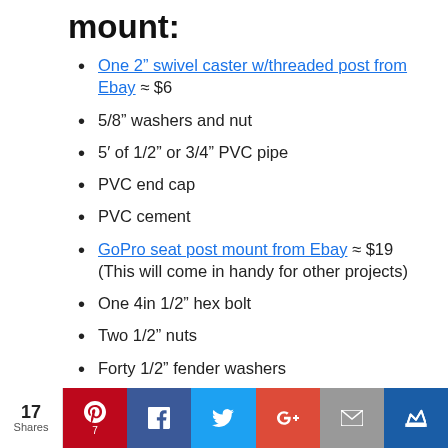mount:
One 2" swivel caster w/threaded post from Ebay ≈ $6
5/8" washers and nut
5′ of 1/2" or 3/4" PVC pipe
PVC end cap
PVC cement
GoPro seat post mount from Ebay ≈ $19 (This will come in handy for other projects)
One 4in 1/2" hex bolt
Two 1/2" nuts
Forty 1/2" fender washers
Tools you'll need:
17 Shares — social share bar (Pinterest 7, Facebook, Twitter, Google+, Email, Crown)